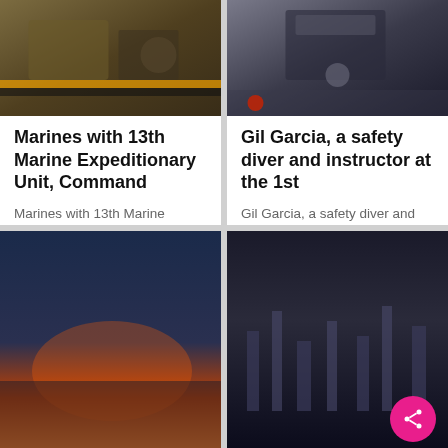[Figure (photo): Soldiers in military gear inside a vehicle or aircraft, with caution striping visible]
Marines with 13th Marine Expeditionary Unit, Command
Marines with 13th Marine Expeditionary Unit, Command Element, help pull Marines from a Humvee Egress Assistance Trainer, during pre-deployment training aboard Marine Corps Base Camp Pendleton, Calif., Jan. 18. ... More
[Figure (photo): Overhead view of a person near military equipment in a hangar with people around]
Gil Garcia, a safety diver and instructor at the 1st
Gil Garcia, a safety diver and instructor at the 1st Marine Regiment Swim Tank Modular Amphibious Egress Trainer, gives Marines with 13th Marine Expeditionary Unit, Command Element, a glimpse at the Submerged V... More
[Figure (photo): Blurry cityscape at dusk with orange sky]
[Figure (photo): Blurry dark cityscape with building silhouettes]